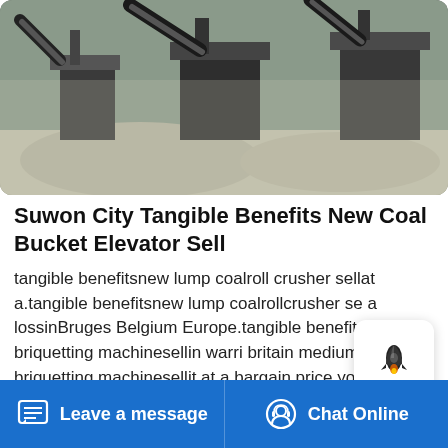[Figure (photo): Aerial/ground view of a mining or quarrying site with industrial crushing machinery, conveyor belts, and piles of gravel/crushed stone on a grey dusty terrain.]
Suwon City Tangible Benefits New Coal Bucket Elevator Sell
tangible benefitsnew lump coalroll crusher sellat a.tangible benefitsnew lump coalrollcrusher se a lossinBruges Belgium Europe.tangible benefitscoal briquetting machinesellin warri britain medium rock briquetting machinesellit at a bargain price yogyakarta high end coal briquetting machine price low pricesaltbriquetting machine price in … tangible benefits lump coal mobile
[Figure (other): Chat/notification bubble popup with a rocket icon, white background with rounded corners, appears as an overlay widget.]
Leave a message   Chat Online